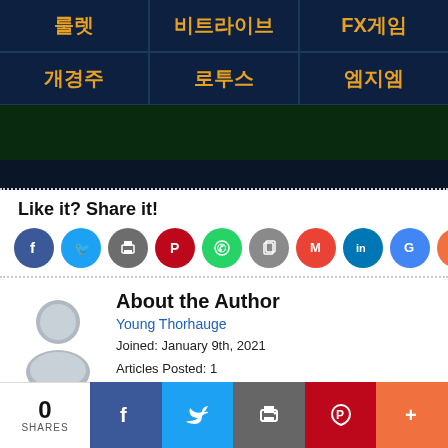[Figure (screenshot): Dark navy blue grid/table with Korean text labels in gold/orange color showing game categories: 룰렛, 비트라이브, FX게임, 개경주, 로투스, 엠지엠, followed by a dark green bar at the bottom]
Like it? Share it!
[Figure (infographic): Row of 10 circular social share buttons: Facebook (blue), Twitter (light blue), Print (gray), Pinterest (red), WhatsApp (green), Copy (gray), Gmail (red), LinkedIn (blue), Google+ (blue), More (orange)]
About the Author
[Figure (illustration): Gray silhouette avatar icon of a person]
Young Thorhauge
Joined: January 9th, 2021
Articles Posted: 1
[Figure (infographic): Bottom share bar: 0 SHARES count on white, then Facebook (dark blue), Twitter (light blue), Print/email (gray), Pinterest (red), More (orange) buttons]